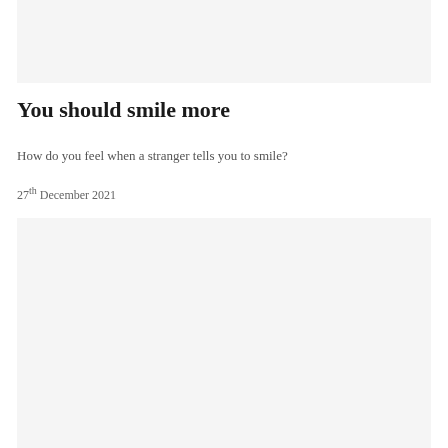[Figure (photo): Top image placeholder, light gray background]
You should smile more
How do you feel when a stranger tells you to smile?
27th December 2021
[Figure (photo): Bottom image placeholder, light gray background]